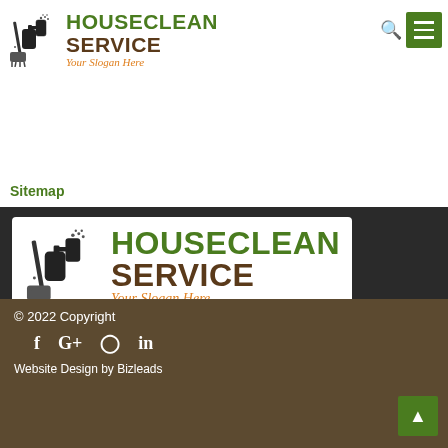[Figure (logo): HouseClean Service logo with cleaning spray bottle and mop icon, green HOUSECLEAN text, brown SERVICE text, orange italic slogan 'Your Slogan Here']
Sitemap
[Figure (logo): Large HouseClean Service logo banner on white background]
We guarantee our customers are truly delighted with our professional services. There’s really no risk when you select us! Our clients ask us to keep going back to clean their residences and offices as a result of our devotion to quality and our incredible customer service.
© 2022 Copyright
Website Design by Bizleads